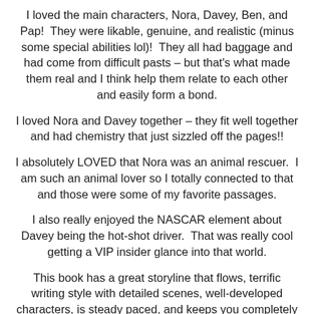I loved the main characters, Nora, Davey, Ben, and Pap!  They were likable, genuine, and realistic (minus some special abilities lol)!  They all had baggage and had come from difficult pasts – but that's what made them real and I think help them relate to each other and easily form a bond.
I loved Nora and Davey together – they fit well together and had chemistry that just sizzled off the pages!!
I absolutely LOVED that Nora was an animal rescuer.  I am such an animal lover so I totally connected to that and those were some of my favorite passages.
I also really enjoyed the NASCAR element about Davey being the hot-shot driver.  That was really cool getting a VIP insider glance into that world.
This book has a great storyline that flows, terrific writing style with detailed scenes, well-developed characters, is steady paced, and keeps you completely entertained through the last page.